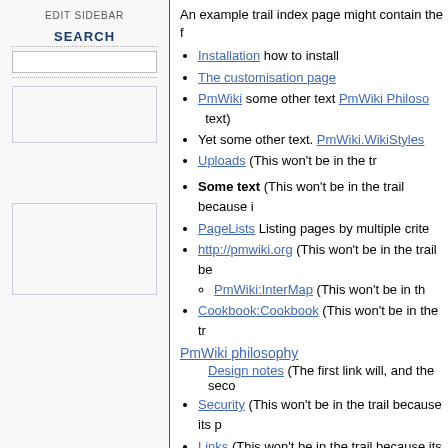EDIT SIDEBAR
SEARCH
An example trail index page might contain the following:
Installation how to install
The customisation page
PmWiki some other text PmWiki Philosophy (some other text)
Yet some other text. PmWiki.WikiStyles
Uploads (This won't be in the trail)
Some text (This won't be in the trail because it)
PageLists Listing pages by multiple criteria
http://pmwiki.org (This won't be in the trail be...)
PmWiki:InterMap (This won't be in th...)
Cookbook:Cookbook (This won't be in the tr...)
PmWiki philosophy
Design notes (The first link will, and the second...)
Security (This won't be in the trail because its p...)
Links (This won't be in the trail because its pre...)
Troubleshooting (This won't be in the trail be...)
The list above creates the following "wikitrail",
> Pm Wiki.Installation < > Pm Wiki.LocalCustomisations < > Pm Wiki.WikiPage Lists < > Pm Wiki.Pm Wiki.D...